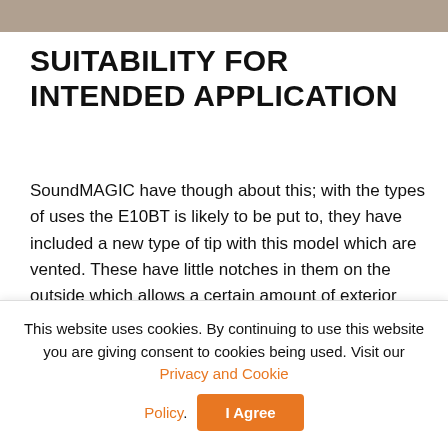[Figure (photo): Partial image strip at the top of the page showing a cropped photo background.]
SUITABILITY FOR INTENDED APPLICATION
SoundMAGIC have though about this; with the types of uses the E10BT is likely to be put to, they have included a new type of tip with this model which are vented. These have little notches in them on the outside which allows a certain amount of exterior sound to penetrate, so if you're out jogging then you're more aware of the environment.
The battery pack on the SoundMAGIC E10BT sits in the
This website uses cookies. By continuing to use this website you are giving consent to cookies being used. Visit our Privacy and Cookie Policy.